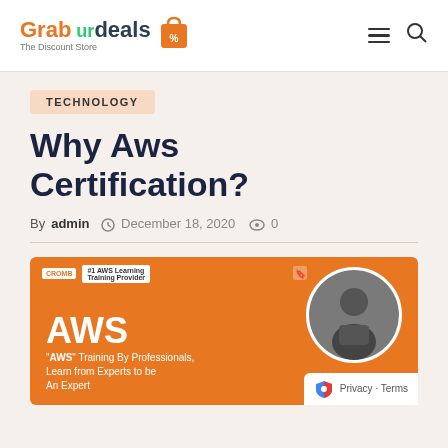Grab ur deals — The Discount Store
TECHNOLOGY
Why Aws Certification?
By admin  December 18, 2020  0
[Figure (illustration): AWS training promotional banner with orange background, AWS text, person working on laptop in circular frame, CROMB logo #1 AWS Learning Training provider badge, text: AWS Training By Professionals, Learn from Experts to be An Expert]